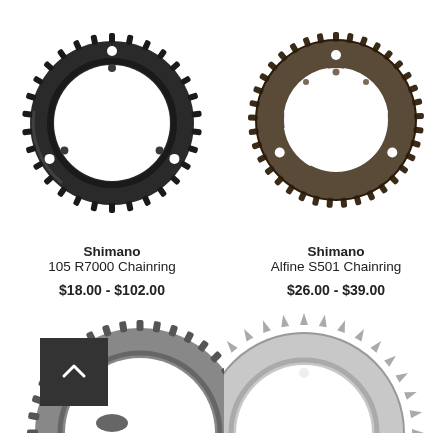[Figure (photo): Shimano 105 R7000 Chainring - black chainring with teeth around the perimeter, viewed from front]
Shimano
105 R7000 Chainring
$18.00 - $102.00
[Figure (photo): Shimano Alfine S501 Chainring - dark gray/brown chainring with teeth and cutouts, viewed from front]
Shimano
Alfine S501 Chainring
$26.00 - $39.00
[Figure (photo): Gray/silver chainring partially visible in bottom-left corner]
[Figure (photo): Silver/chrome chainring partially visible in bottom-right corner]